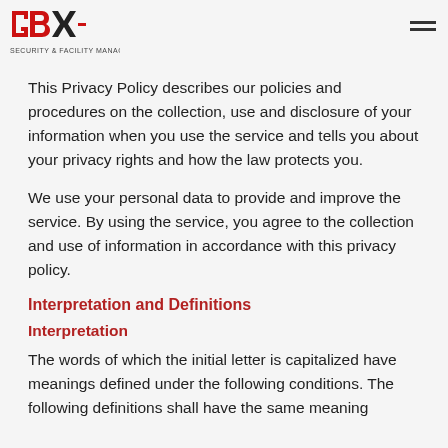GBX Security & Facility Management logo and navigation
This Privacy Policy describes our policies and procedures on the collection, use and disclosure of your information when you use the service and tells you about your privacy rights and how the law protects you.
We use your personal data to provide and improve the service. By using the service, you agree to the collection and use of information in accordance with this privacy policy.
Interpretation and Definitions
Interpretation
The words of which the initial letter is capitalized have meanings defined under the following conditions. The following definitions shall have the same meaning